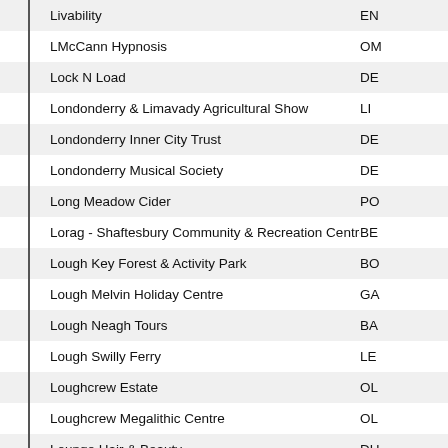| Name | Code |
| --- | --- |
| Livability | EN |
| LMcCann Hypnosis | OM |
| Lock N Load | DE |
| Londonderry & Limavady Agricultural Show | LI |
| Londonderry Inner City Trust | DE |
| Londonderry Musical Society | DE |
| Long Meadow Cider | PO |
| Lorag - Shaftesbury Community & Recreation Centre | BE |
| Lough Key Forest & Activity Park | BO |
| Lough Melvin Holiday Centre | GA |
| Lough Neagh Tours | BA |
| Lough Swilly Ferry | LE |
| Loughcrew Estate | OL |
| Loughcrew Megalithic Centre | OL |
| Lounge Hair & Beauty | DU |
| Love Equality NI | BE |
| Love Ink | AN |
| Love Irish Tours | TR |